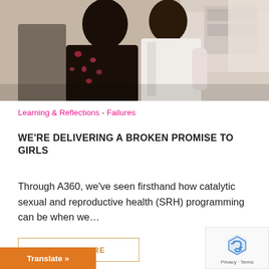[Figure (photo): Two women in a healthcare or clinic setting, one wearing a floral dress, photographed indoors]
Learning & Reflections - Failures
WE'RE DELIVERING A BROKEN PROMISE TO GIRLS
Through A360, we've seen firsthand how catalytic sexual and reproductive health (SRH) programming can be when we…
READ MORE
Translate »